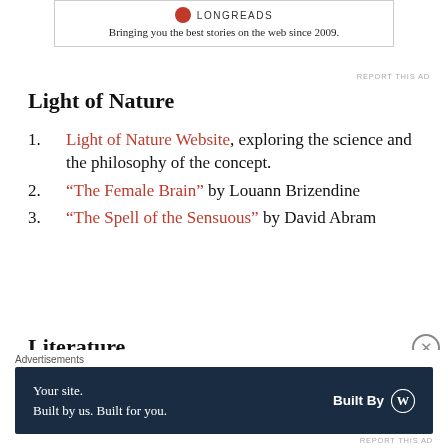[Figure (other): Longreads advertisement banner with logo and tagline 'Bringing you the best stories on the web since 2009.']
Light of Nature
Light of Nature Website, exploring the science and the philosophy of the concept.
“The Female Brain” by Louann Brizendine
“The Spell of the Sensuous” by David Abram
Literature
[Figure (other): Advertisement banner: 'Your site. Built by us. Built for you. Built By WordPress']